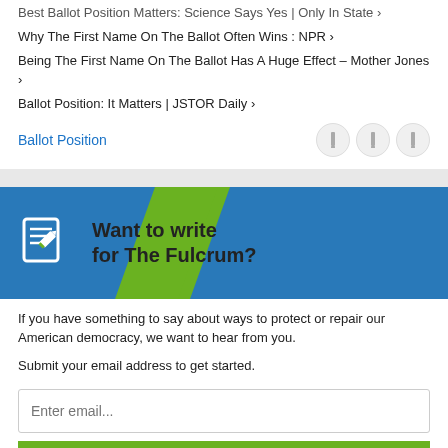Best Ballot Position Matters: Science Says Yes | Only In State ›
Why The First Name On The Ballot Often Wins : NPR ›
Being The First Name On The Ballot Has A Huge Effect – Mother Jones ›
Ballot Position: It Matters | JSTOR Daily ›
Ballot Position
[Figure (other): Want to write for The Fulcrum? banner with blue background, green diagonal slash, and document/pencil icon]
If you have something to say about ways to protect or repair our American democracy, we want to hear from you.
Submit your email address to get started.
Enter email...
SUBMIT